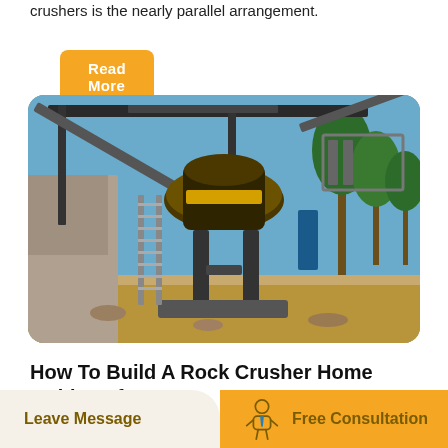crushers is the nearly parallel arrangement.
Read More
[Figure (photo): Outdoor industrial rock crusher machine with conveyor belts, elevated platform with ladder, and palm trees in the background under a blue sky.]
How To Build A Rock Crusher Home Guides Sf Gate
Leave Message
Free Consultation